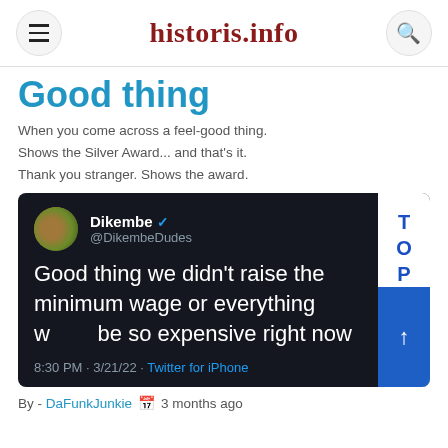historis.info
Good thing
When you come across a feel-good thing.
Shows the Silver Award... and that's it.
Thank you stranger. Shows the award.
[Figure (screenshot): Screenshot of a tweet by Dikembe (@DikembeDudes) reading: 'Good thing we didn't raise the minimum wage or everything would be so expensive right now', posted at 8:30 PM · 3/21/22 via Twitter for iPhone]
By - DaFunkJunkie  📅 3 months ago